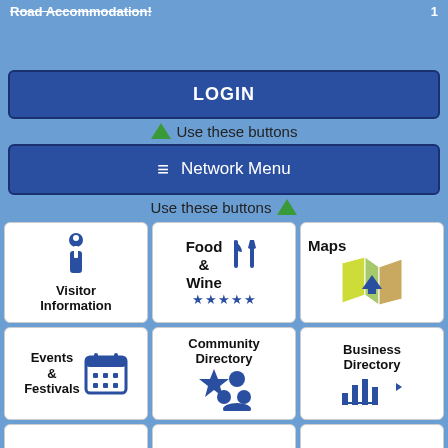Road Accommodation!   1
LOGIN
Use these buttons
≡  Network Menu
Use these buttons
[Figure (screenshot): Grid of navigation buttons: Visitor Information, Food & Wine, Maps, Events & Festivals, Community Directory, Business Directory]
[Figure (other): Bottom row of partially visible navigation buttons]